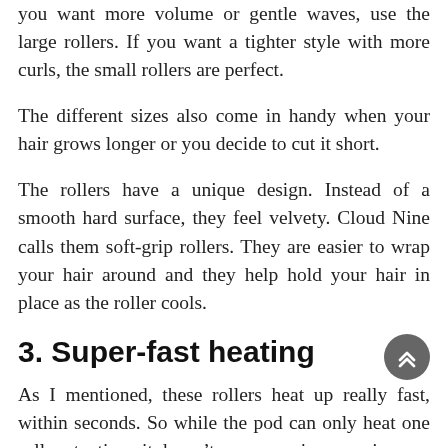you want more volume or gentle waves, use the large rollers. If you want a tighter style with more curls, the small rollers are perfect.
The different sizes also come in handy when your hair grows longer or you decide to cut it short.
The rollers have a unique design. Instead of a smooth hard surface, they feel velvety. Cloud Nine calls them soft-grip rollers. They are easier to wrap your hair around and they help hold your hair in place as the roller cools.
3. Super-fast heating
As I mentioned, these rollers heat up really fast, within seconds. So while the pod can only heat one roller at a time, it doesn't cause any inconvenience.
By the time you are finished setting one roller, the next